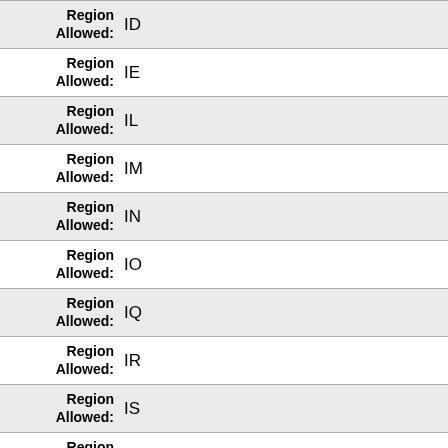| Field | Value |
| --- | --- |
| Region Allowed: | ID |
| Region Allowed: | IE |
| Region Allowed: | IL |
| Region Allowed: | IM |
| Region Allowed: | IN |
| Region Allowed: | IO |
| Region Allowed: | IQ |
| Region Allowed: | IR |
| Region Allowed: | IS |
| Region Allowed: | IT |
| Region Allowed: | JE |
| Region Allowed: | JM |